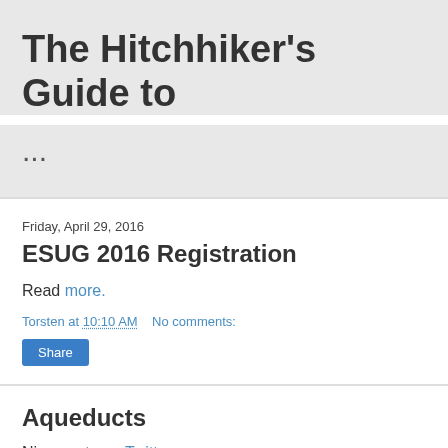The Hitchhiker's Guide to ...
Friday, April 29, 2016
ESUG 2016 Registration
Read more.
Torsten at 10:10 AM   No comments:
Share
Aqueducts
Nice quote on Twitter: